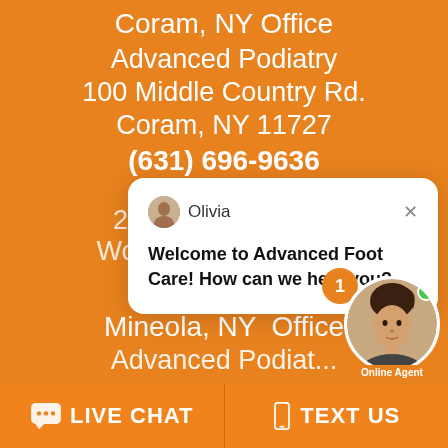Coram, NY Office
Advanced Podiatry
100 Middle Country Rd.
Coram, NY 11727
(631) 696-9636
20 C...
Woodbury, NY 11797
(516) 681-8866
Mineola, NY  Office
Advanced Podiat...
[Figure (screenshot): Live chat popup with agent named Olivia saying 'Welcome to Advanced Foot Care! How can we help you?' with a close button and agent avatar with online status indicator and notification badge showing 1]
LIVE CHAT
TEXT US